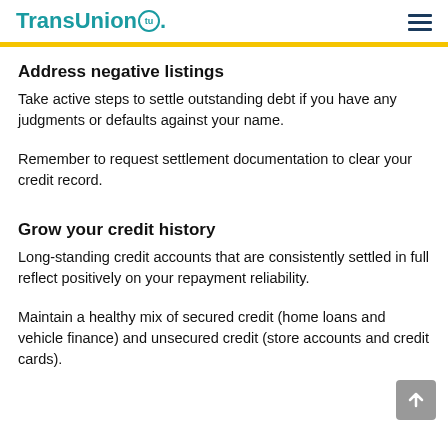TransUnion
Address negative listings
Take active steps to settle outstanding debt if you have any judgments or defaults against your name.
Remember to request settlement documentation to clear your credit record.
Grow your credit history
Long-standing credit accounts that are consistently settled in full reflect positively on your repayment reliability.
Maintain a healthy mix of secured credit (home loans and vehicle finance) and unsecured credit (store accounts and credit cards).